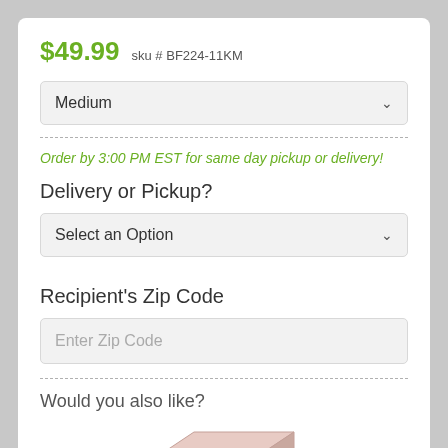$49.99  sku # BF224-11KM
Medium
Order by 3:00 PM EST for same day pickup or delivery!
Delivery or Pickup?
Select an Option
Recipient's Zip Code
Enter Zip Code
Would you also like?
[Figure (photo): Product image of a pink/rose gift box]